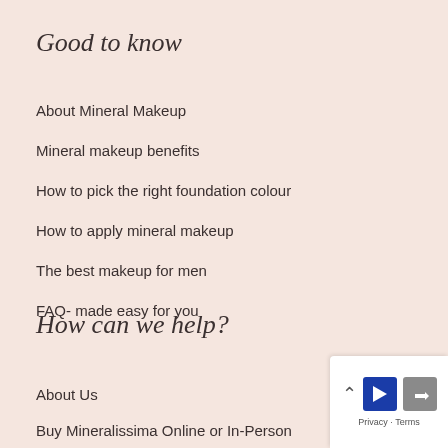Good to know
About Mineral Makeup
Mineral makeup benefits
How to pick the right foundation colour
How to apply mineral makeup
The best makeup for men
FAQ- made easy for you
How can we help?
About Us
Buy Mineralissima Online or In-Person